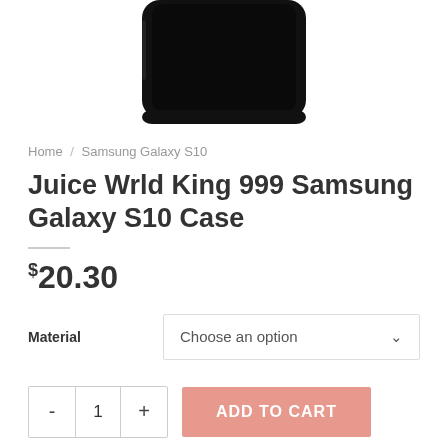[Figure (photo): Partial image of a black Samsung Galaxy S10 phone case viewed from behind, cropped at the top]
Home / Samsung Galaxy S10
Juice Wrld King 999 Samsung Galaxy S10 Case
$20.30
Material  Choose an option
- 1 +  ADD TO CART